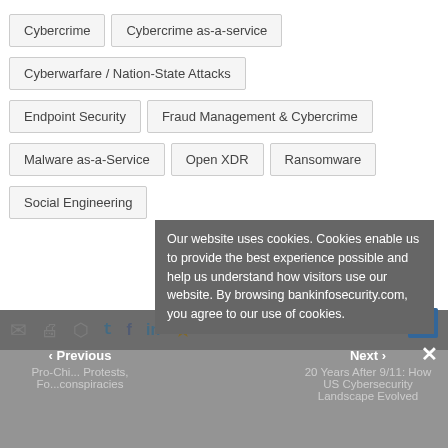Cybercrime
Cybercrime as-a-service
Cyberwarfare / Nation-State Attacks
Endpoint Security
Fraud Management & Cybercrime
Malware as-a-Service
Open XDR
Ransomware
Social Engineering
Our website uses cookies. Cookies enable us to provide the best experience possible and help us understand how visitors use our website. By browsing bankinfosecurity.com, you agree to our use of cookies.
Previous
Pro-China... Protests, Fo...conspiracies
Next
20 Years After 9/11: How US Cybersecurity Landscape Evolved